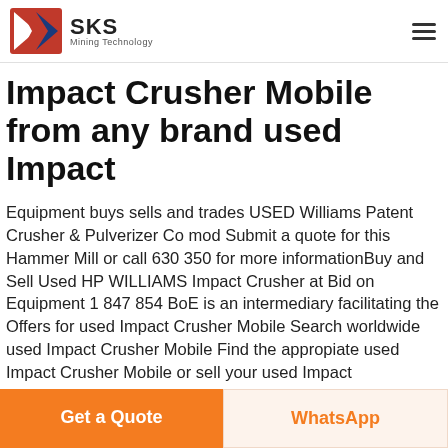SKS Mining Technology
Impact Crusher Mobile from any brand used Impact
Equipment buys sells and trades USED Williams Patent Crusher & Pulverizer Co mod Submit a quote for this Hammer Mill or call 630 350 for more informationBuy and Sell Used HP WILLIAMS Impact Crusher at Bid on Equipment 1 847 854 BoE is an intermediary facilitating the Offers for used Impact Crusher Mobile Search worldwide used Impact Crusher Mobile Find the appropiate used Impact Crusher Mobile or sell your used Impact
Get a Quote
WhatsApp